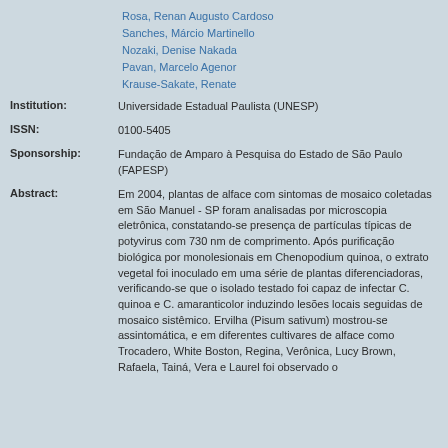Rosa, Renan Augusto Cardoso
Sanches, Márcio Martinello
Nozaki, Denise Nakada
Pavan, Marcelo Agenor
Krause-Sakate, Renate
Institution: Universidade Estadual Paulista (UNESP)
ISSN: 0100-5405
Sponsorship: Fundação de Amparo à Pesquisa do Estado de São Paulo (FAPESP)
Abstract: Em 2004, plantas de alface com sintomas de mosaico coletadas em São Manuel - SP foram analisadas por microscopia eletrônica, constatando-se presença de partículas típicas de potyvirus com 730 nm de comprimento. Após purificação biológica por monolesionais em Chenopodium quinoa, o extrato vegetal foi inoculado em uma série de plantas diferenciadoras, verificando-se que o isolado testado foi capaz de infectar C. quinoa e C. amaranticolor induzindo lesões locais seguidas de mosaico sistêmico. Ervilha (Pisum sativum) mostrou-se assintomática, e em diferentes cultivares de alface como Trocadero, White Boston, Regina, Verônica, Lucy Brown, Rafaela, Tainá, Vera e Laurel foi observado o